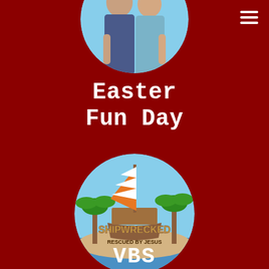[Figure (photo): Circular cropped photo of two people (a man and a woman) standing together outdoors, partially visible at the top of the page]
Easter Fun Day
[Figure (logo): Circular Shipwrecked VBS logo featuring a wooden ship with orange and white striped sail, tropical island with palm trees, and text 'SHIPWRECKED RESCUED BY JESUS']
VBS